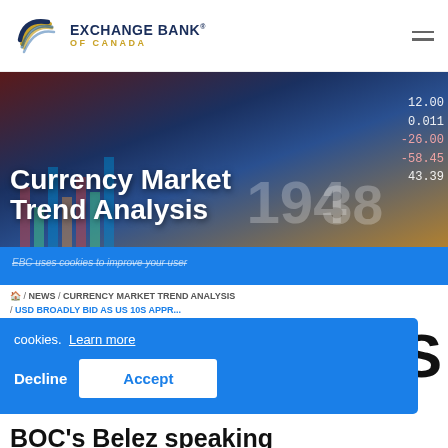[Figure (logo): Exchange Bank of Canada logo with circular globe icon in gold and blue, and text 'EXCHANGE BANK OF CANADA']
[Figure (photo): Hero banner showing currency market data screens with bar charts and trading numbers in background, dark blue and orange tones]
Currency Market Trend Analysis
EBC uses cookies to improve your user
NEWS / CURRENCY MARKET TREND ANALYSIS / USD BROADLY BID AS US 10S APPR...
cookies.  Learn more
Decline
Accept
BOC's Belez speaking